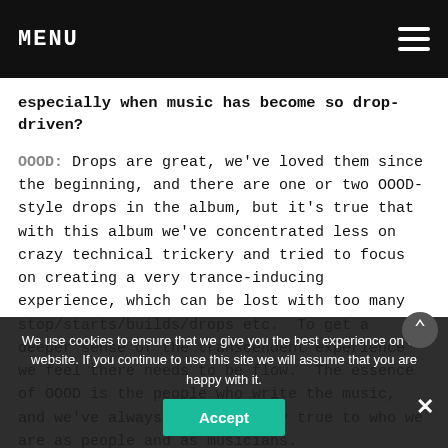MENU
especially when music has become so drop-driven?
OOOD: Drops are great, we've loved them since the beginning, and there are one or two OOOD-style drops in the album, but it's true that with this album we've concentrated less on crazy technical trickery and tried to focus on creating a very trance-inducing experience, which can be lost with too many stop/starts/builds/drops etc.  To get a deeper sense of the transcendent experience we feel there needs to be flow.  The essence of OOOD is the people who write the music, and we've always tried to stay true to who we are as people and as musicians.
One could argue that people just want instant gratification and 'single servings.' What made you decide to create a full-length album at a time where music is so accessible that singles and EPs are 'easier' to digest?
We use cookies to ensure that we give you the best experience on our website. If you continue to use this site we will assume that you are happy with it.